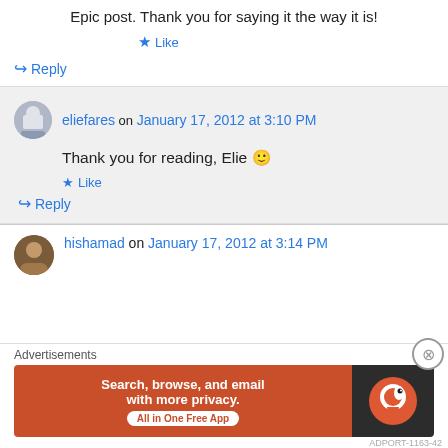Epic post. Thank you for saying it the way it is!
★ Like
↪ Reply
eliefares on January 17, 2012 at 3:10 PM
Thank you for reading, Elie 🙂
★ Like
↪ Reply
hishamad on January 17, 2012 at 3:14 PM
Advertisements
[Figure (screenshot): DuckDuckGo advertisement banner: 'Search, browse, and email with more privacy. All in One Free App' with DuckDuckGo logo on dark right panel]